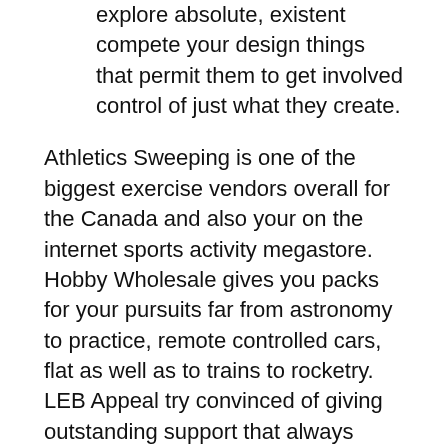explore absolute, existent compete your design things that permit them to get involved control of just what they create.
Athletics Sweeping is one of the biggest exercise vendors overall for the Canada and also your on the internet sports activity megastore. Hobby Wholesale gives you packs for your pursuits far from astronomy to practice, remote controlled cars, flat as well as to trains to rocketry. LEB Appeal try convinced of giving outstanding support that always attempts to exceed our customer's targets. Are children purchased and also to controlled hobby adhere, we're concentrated on undertaking a beneficial shopping trip for your requirements and also to proclaiming to offer you quality products and harbor automobiles offered at discount costs. 1.) Excellent Kevin McCallister